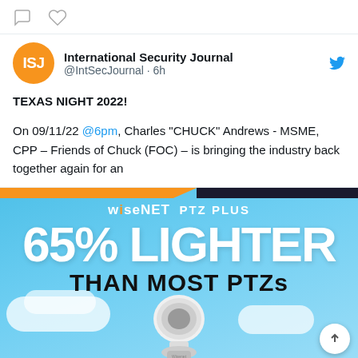[Figure (screenshot): Twitter/social media post icons: comment bubble and heart/like icon]
International Security Journal @IntSecJournal · 6h
TEXAS NIGHT 2022!

On 09/11/22 @6pm, Charles "CHUCK" Andrews - MSME, CPP – Friends of Chuck (FOC) – is bringing the industry back together again for an
[Figure (advertisement): Wisenet PTZ Plus advertisement on blue sky background. Text reads: wisenet PTZ PLUS / 65% LIGHTER / THAN MOST PTZs. Shows a PTZ camera below the text.]